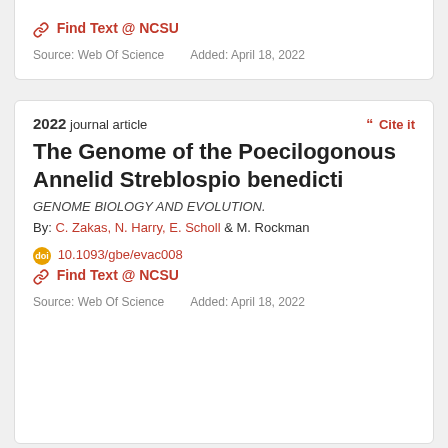🔗 Find Text @ NCSU
Source: Web Of Science    Added: April 18, 2022
2022 journal article
❝ Cite it
The Genome of the Poecilogonous Annelid Streblospio benedicti
GENOME BIOLOGY AND EVOLUTION.
By: C. Zakas, N. Harry, E. Scholl & M. Rockman
doi 10.1093/gbe/evac008
🔗 Find Text @ NCSU
Source: Web Of Science    Added: April 18, 2022